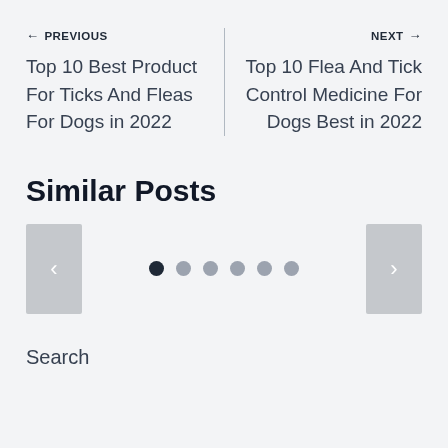← PREVIOUS
Top 10 Best Product For Ticks And Fleas For Dogs in 2022
NEXT →
Top 10 Flea And Tick Control Medicine For Dogs Best in 2022
Similar Posts
[Figure (other): Carousel navigation with previous/next arrow buttons and six pagination dots, first dot active (dark), rest inactive (gray)]
Search